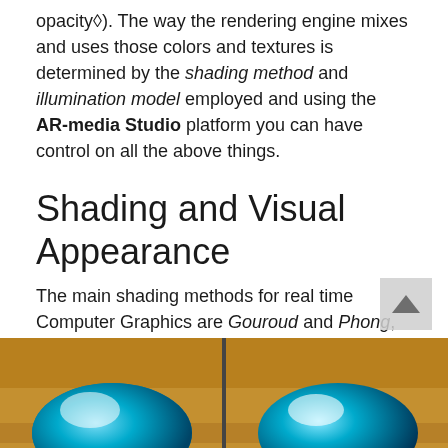opacity◆). The way the rendering engine mixes and uses those colors and textures is determined by the shading method and illumination model employed and using the AR-media Studio platform you can have control on all the above things.
Shading and Visual Appearance
The main shading methods for real time Computer Graphics are Gouroud and Phong, the former computes the shading of a surface only considering information available at the vertex level (and this information is interpolated on all the surface), the latter computes the shading at the pixel level, this meaning for each visible point on the model◆s surface:
[Figure (photo): Two side-by-side images of 3D rendered blue spherical objects on a brown/orange wooden surface background, showing different shading methods.]